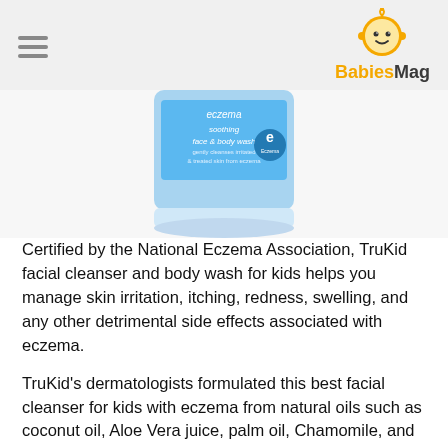BabiesMag
[Figure (photo): A blue container of TruKid eczema soothing face & body wash product, partially cropped at top]
Certified by the National Eczema Association, TruKid facial cleanser and body wash for kids helps you manage skin irritation, itching, redness, swelling, and any other detrimental side effects associated with eczema.
TruKid's dermatologists formulated this best facial cleanser for kids with eczema from natural oils such as coconut oil, Aloe Vera juice, palm oil, Chamomile, and Lavender oil. As well, the facial cleanser contains plant-based vitamin B and glycerine.